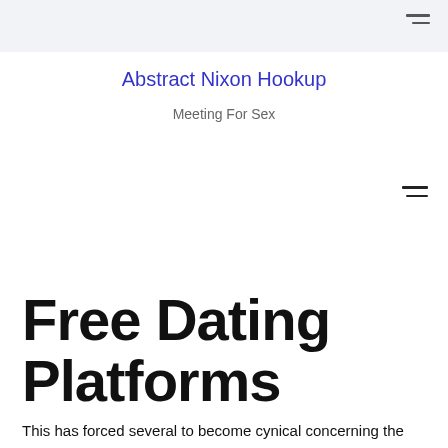Abstract Nixon Hookup — Meeting For Sex
Free Dating Platforms
This has forced several to become cynical concerning the